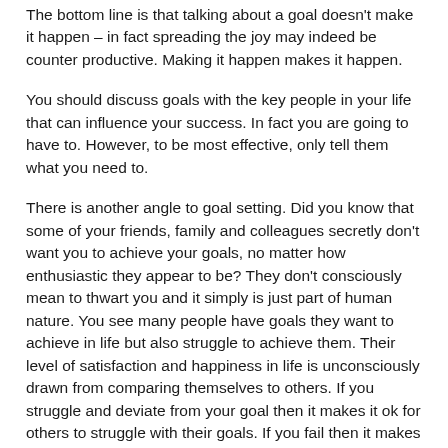The bottom line is that talking about a goal doesn't make it happen – in fact spreading the joy may indeed be counter productive. Making it happen makes it happen.
You should discuss goals with the key people in your life that can influence your success. In fact you are going to have to. However, to be most effective, only tell them what you need to.
There is another angle to goal setting. Did you know that some of your friends, family and colleagues secretly don't want you to achieve your goals, no matter how enthusiastic they appear to be? They don't consciously mean to thwart you and it simply is just part of human nature. You see many people have goals they want to achieve in life but also struggle to achieve them. Their level of satisfaction and happiness in life is unconsciously drawn from comparing themselves to others. If you struggle and deviate from your goal then it makes it ok for others to struggle with their goals. If you fail then it makes their failure easier to deal with.
If you change something in your life it often imposes a change on others because they are part of the system. If you don't make a change then they also don't feel the need to change anything either. You staying as you are makes it ok for them to stay the way they are. The danger is that you reach the end of